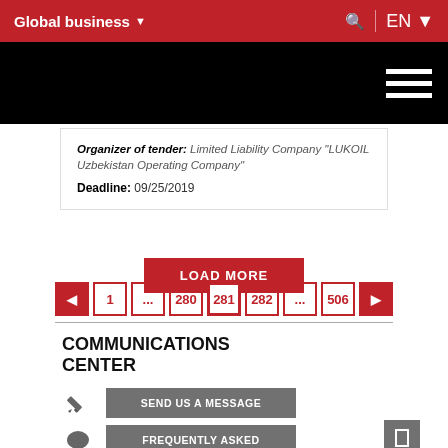Global business EN
Organizer of tender: Limited Liability Company "LUKOIL Uzbekistan Operating Company"
Deadline: 09/25/2019
LOAD MORE
1 ... 280 281 282 ... 506
COMMUNICATIONS CENTER
SEND US A MESSAGE
FREQUENTLY ASKED